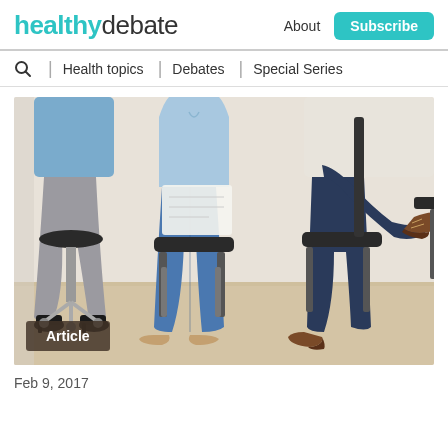healthydebate | About | Subscribe | Health topics | Debates | Special Series
[Figure (photo): People sitting on chairs in a waiting room, shown from the waist down. Multiple people in jeans and casual clothing seated on black chairs with chrome legs on a wooden floor.]
Article
Feb 9, 2017